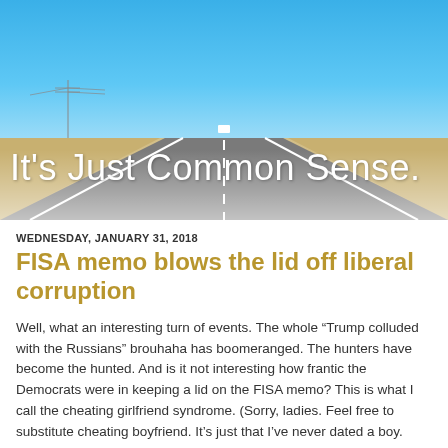[Figure (photo): Desert road scene with clear blue sky, a straight highway stretching into the distance with a white vehicle visible, sandy desert landscape on both sides, power lines visible on left.]
It's Just Common Sense.
WEDNESDAY, JANUARY 31, 2018
FISA memo blows the lid off liberal corruption
Well, what an interesting turn of events. The whole “Trump colluded with the Russians” brouhaha has boomeranged. The hunters have become the hunted. And is it not interesting how frantic the Democrats were in keeping a lid on the FISA memo? This is what I call the cheating girlfriend syndrome. (Sorry, ladies. Feel free to substitute cheating boyfriend. It’s just that I’ve never dated a boy. How last century of me.)